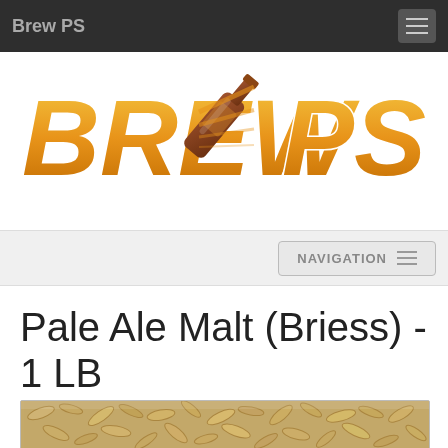Brew PS
[Figure (logo): Brew PS logo with stylized text BREW PS and an animated beer bottle graphic with golden/orange gradient lettering]
NAVIGATION
Pale Ale Malt (Briess) - 1 LB
[Figure (photo): Close-up photo of pale ale malt grain kernels, showing tan/golden dried barley grains]